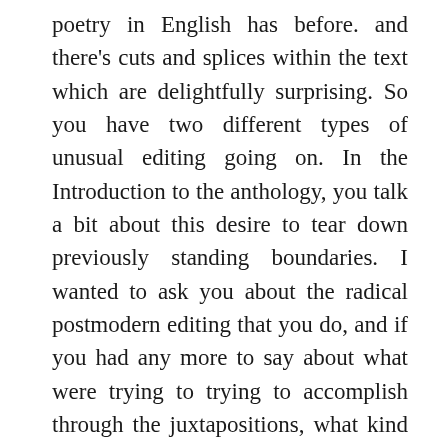poetry in English has before. and there's cuts and splices within the text which are delightfully surprising. So you have two different types of unusual editing going on. In the Introduction to the anthology, you talk a bit about this desire to tear down previously standing boundaries. I wanted to ask you about the radical postmodern editing that you do, and if you had any more to say about what were trying to trying to accomplish through the juxtapositions, what kind of discrepant engagement you might see this ethnopoetics project involved with. How much of it has to do with extending and livening up the anthology as a form?